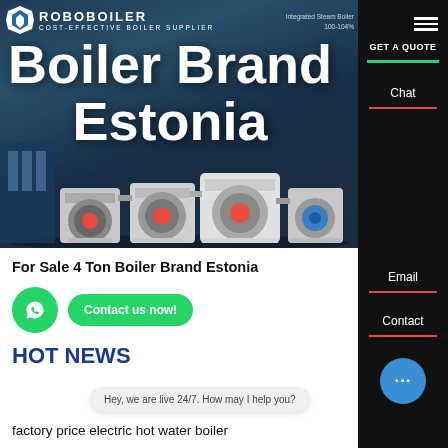[Figure (screenshot): Website header with boiler company logo, hero image of industrial boilers, and title 'Boiler Brand Estonia']
Boiler Brand
Estonia
ROBOBOILER - COST-EFFECTIVE BOILER SUPPLIER
For Sale 4 Ton Boiler Brand Estonia
HOT NEWS
Hey, we are live 24/7. How may I help you?
factory price electric hot water boiler